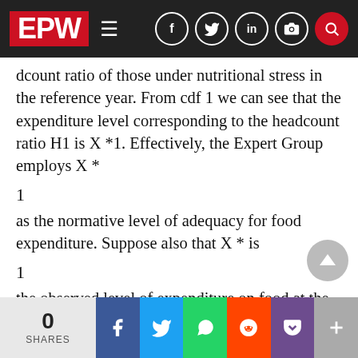EPW
dcount ratio of those under nutritional stress in the reference year. From cdf 1 we can see that the expenditure level corresponding to the headcount ratio H1 is X *1. Effectively, the Expert Group employs X *
as the normative level of adequacy for food expenditure. Suppose also that X * is
the observed level of expenditure on food at the poverty line in each of the years 0, 1 and 2. Additionally, suppose that H0 and H2 are the